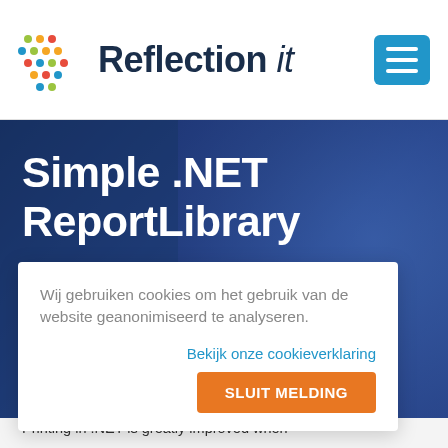Reflection it
Simple .NET ReportLibrary
By Fons Sonnemans, posted on 01 Jun-2002
Wij gebruiken cookies om het gebruik van de website geanonimiseerd te analyseren.

Bekijk onze cookieverklaring

SLUIT MELDING
Printing in .NET is greatly improved when